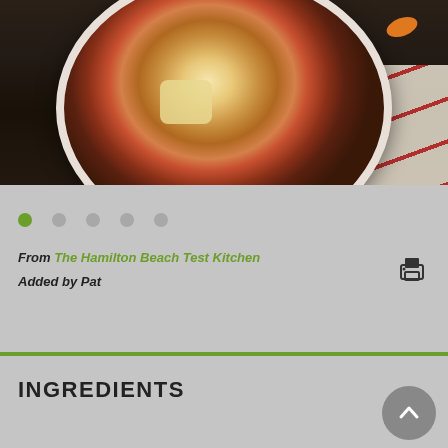[Figure (photo): Overhead photo of a bowl of beef stew with potatoes, carrots, tomatoes, and mushrooms, placed on a striped cloth napkin over a dark wood surface.]
From The Hamilton Beach Test Kitchen
Added by Pat
INGREDIENTS